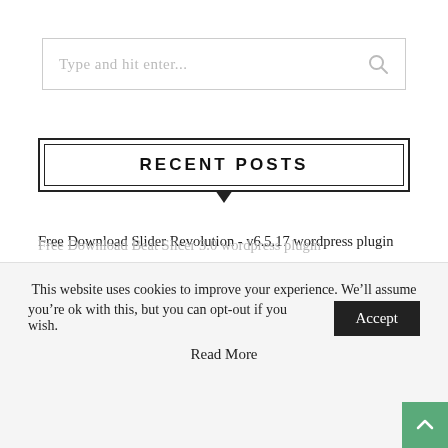[Figure (other): Search input box with placeholder text 'Type and hit enter...' and a search icon on the right]
RECENT POSTS
Free Download Slider Revolution - v6.5.17 wordpress plugin
Free Download Bimber - v9.2.1 wordpress plugin
Free Download RyanCV - v2.0.5 wordpress plugin
This website uses cookies to improve your experience. We’ll assume you’re ok with this, but you can opt-out if you wish.
Read More